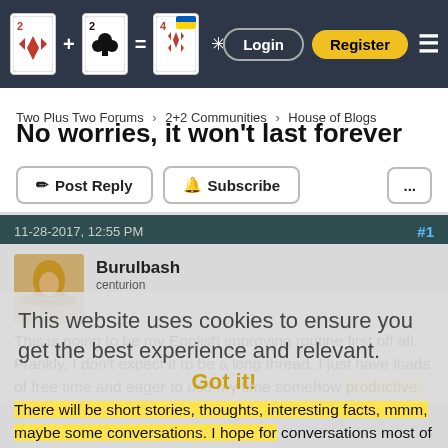Two Plus Two Forums — Login | Register
Two Plus Two Forums › 2+2 Communities › House of Blogs
No worries, it won't last forever
Post Reply  Subscribe  ...
11-28-2017, 12:55 PM  #1
Burulbash
centurion
This website uses cookies to ensure you get the best experience and relevant.
This is going to be my English improving routine first off all. Frankly, I don't expect it to be a long thread, I just have loads of free time and eager to use my time somehow productive. There will be short stories, thoughts, interesting facts, mmm, maybe some conversations. I hope for conversations most of all, honestly. So everybody is extremely welcomed to ask questions, to share opinions, to make fun of my mistakes, whatever. Also, I'm up for any job
Got it!